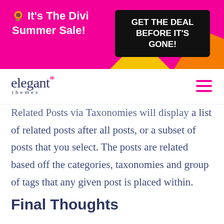[Figure (other): Promotional banner for Divi Summer Sale with pink background, yellow and orange decorative shapes, white text on left reading '🌻 It's The Divi Summer Sale!' and black CTA button on right reading 'GET THE DEAL BEFORE IT'S GONE!']
elegant themes (logo with navigation hamburger menu)
Related Posts via Taxonomies will display a list of related posts after all posts, or a subset of posts that you select. The posts are related based off the categories, taxonomies and group of tags that any given post is placed within.
Final Thoughts